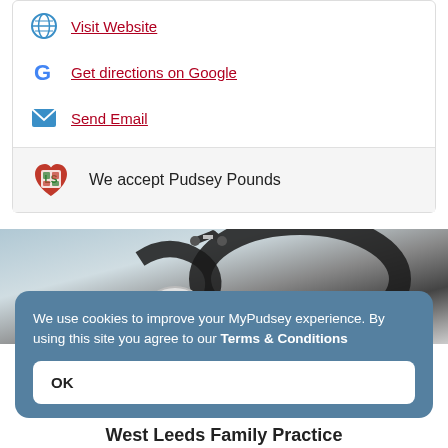Visit Website
Get directions on Google
Send Email
We accept Pudsey Pounds
[Figure (photo): Close-up photo of a black stethoscope on a light background]
We use cookies to improve your MyPudsey experience. By using this site you agree to our Terms & Conditions
OK
West Leeds Family Practice